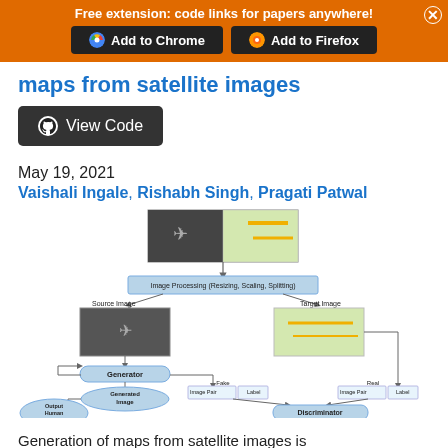Free extension: code links for papers anywhere!
maps from satellite images
[Figure (other): View Code button with GitHub icon]
May 19, 2021
Vaishali Ingale, Rishabh Singh, Pragati Patwal
[Figure (flowchart): Flowchart showing pipeline: satellite/map image pair → Image Processing (Resizing, Scaling, Splitting) → Source Image and Target Image → Generator → Generated Image → Output Human Readable Map; also Fake (Image Pair, Label) and Real (Image Pair, Label) → Discriminator → Predict Image Real/Fake]
Generation of maps from satellite images is